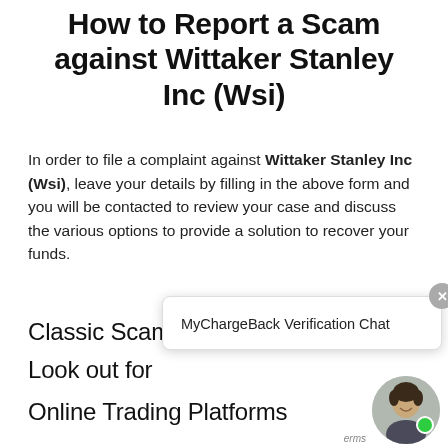How to Report a Scam against Wittaker Stanley Inc (Wsi)
In order to file a complaint against Wittaker Stanley Inc (Wsi), leave your details by filling in the above form and you will be contacted to review your case and discuss the various options to provide a solution to recover your funds.
Classic Scam W
Look out for
Online Trading Platforms
[Figure (screenshot): MyChargeBack Verification Chat popup overlay with close button and agent avatar photo]